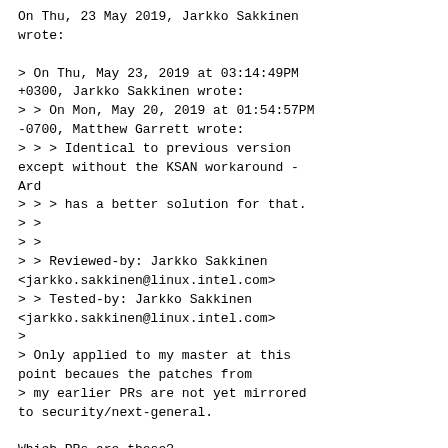On Thu, 23 May 2019, Jarkko Sakkinen wrote:

> On Thu, May 23, 2019 at 03:14:49PM +0300, Jarkko Sakkinen wrote:
> > On Mon, May 20, 2019 at 01:54:57PM -0700, Matthew Garrett wrote:
> > > Identical to previous version except without the KSAN workaround - Ard
> > > has a better solution for that.
> >
> >
> > Reviewed-by: Jarkko Sakkinen <jarkko.sakkinen@linux.intel.com>
> > Tested-by: Jarkko Sakkinen <jarkko.sakkinen@linux.intel.com>
> 
> Only applied to my master at this point becaues the patches from
> my earlier PRs are not yet mirrored to security/next-general.

Which PRs are these?

btw, Linus wants security subsystem maintainers to submit PRs directly to him from now on.

I'll only be carrying patches for the ... LSMs and security with coloring...